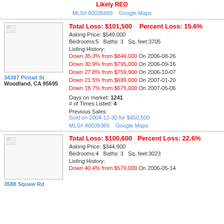Likely REO
MLS# 80035685    Google Maps
Total Loss: $101,500    Percent Loss: 15.6%
Asking Price: $549,000
Bedrooms:5    Baths: 3    Sq. feet:3705
Listing History:
Down 35.3% from $849,000 On 2006-08-26
Down 30.9% from $795,000 On 2006-09-16
Down 27.8% from $759,900 On 2006-10-07
Down 21.5% from $699,000 On 2007-01-20
Down 18.7% from $675,000 On 2007-05-06
Days on market: 1241
# of Times Listed: 4
Previous Sales:
Sold on 2004-12-30 for $650,500
MLS# 80039369    Google Maps
34387 Pintail St
Woodland, CA 95695
Total Loss: $100,600    Percent Loss: 22.6%
Asking Price: $344,900
Bedrooms:4    Baths: 3    Sq. feet:3023
Listing History:
Down 40.4% from $579,000 On 2006-05-14
3588 Squaw Rd